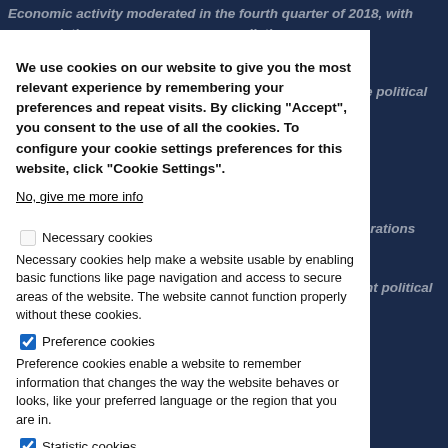Economic activity moderated in the fourth quarter of 2018, with ... accumulation ... industrial sector ... affected by pronounced weakness in the industrial sector in the EU and by sluggish foreign demand. On the political ... parliament approved the 2019 budget, which ... with m... ary slippage ... ons to relax anti-graft laws and the newly ... g to ... will sleinh on consumer spending, while new taxes on corporations and ... ts will restrain investment. Downside risks stem from the large fiscal and current account deficits and recurrent political ...
We use cookies on our website to give you the most relevant experience by remembering your preferences and repeat visits. By clicking "Accept", you consent to the use of all the cookies. To configure your cookie settings preferences for this website, click "Cookie Settings".
No, give me more info
Necessary cookies — Necessary cookies help make a website usable by enabling basic functions like page navigation and access to secure areas of the website. The website cannot function properly without these cookies.
Preference cookies — Preference cookies enable a website to remember information that changes the way the website behaves or looks, like your preferred language or the region that you are in.
Statistic cookies — Statistic cookies help website owners to understand how visitors interact with websites by collecting and reporting information anonymously.
OK, I agree
Accept all cookies